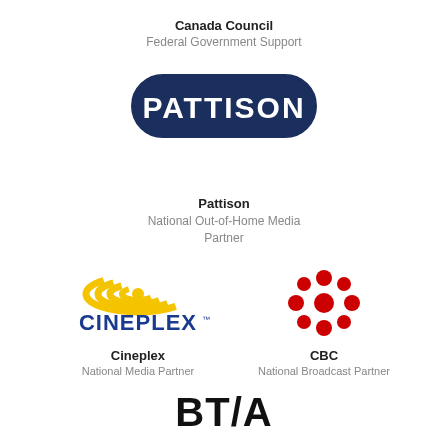Canada Council
Federal Government Support
[Figure (logo): PATTISON logo — bold white text on dark navy rounded rectangle border]
Pattison
National Out-of-Home Media Partner
[Figure (logo): Cineplex logo — yellow circular wave graphic above blue CINEPLEX text with trademark symbol]
[Figure (logo): CBC logo — red gem/jewel pattern circle mark]
Cineplex
National Media Partner
CBC
National Broadcast Partner
[Figure (logo): BT/A logo in bold black text]